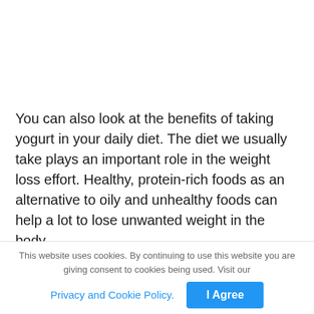You can also look at the benefits of taking yogurt in your daily diet. The diet we usually take plays an important role in the weight loss effort. Healthy, protein-rich foods as an alternative to oily and unhealthy foods can help a lot to lose unwanted weight in the body.
It is packed with various nutrients such as calcium.
This website uses cookies. By continuing to use this website you are giving consent to cookies being used. Visit our Privacy and Cookie Policy.